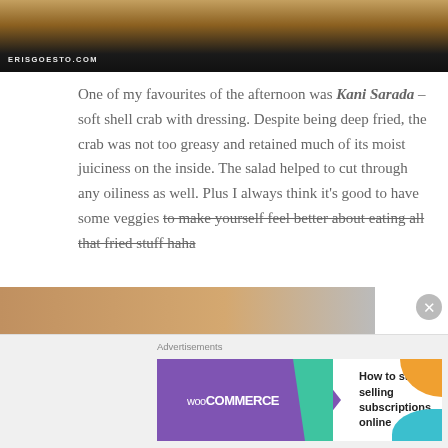[Figure (photo): Top portion of a food photo showing a dark dish on a wooden surface, with ERISGOESTO.COM watermark]
One of my favourites of the afternoon was Kani Sarada – soft shell crab with dressing. Despite being deep fried, the crab was not too greasy and retained much of its moist juiciness on the inside. The salad helped to cut through any oiliness as well. Plus I always think it's good to have some veggies to make yourself feel better about eating all that fried stuff haha
[Figure (photo): Bottom portion of another food photo, partially visible]
Advertisements
[Figure (screenshot): WooCommerce advertisement banner: How to start selling subscriptions online]